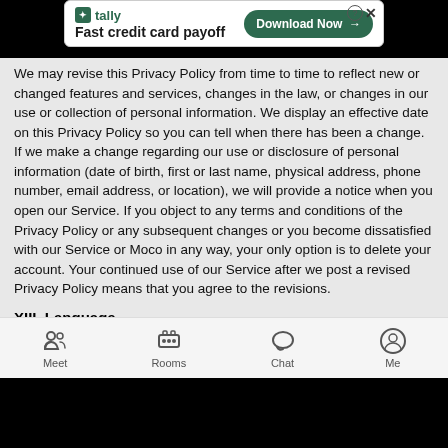[Figure (screenshot): Advertisement banner for Tally app: 'Fast credit card payoff' with Download Now button]
We may revise this Privacy Policy from time to time to reflect new or changed features and services, changes in the law, or changes in our use or collection of personal information. We display an effective date on this Privacy Policy so you can tell when there has been a change. If we make a change regarding our use or disclosure of personal information (date of birth, first or last name, physical address, phone number, email address, or location), we will provide a notice when you open our Service. If you object to any terms and conditions of the Privacy Policy or any subsequent changes or you become dissatisfied with our Service or Moco in any way, your only option is to delete your account. Your continued use of our Service after we post a revised Privacy Policy means that you agree to the revisions.
XIII. Language
This Privacy Policy was written in English. If you are reading a
[Figure (screenshot): Mobile app bottom navigation bar with Meet, Rooms, Chat, and Me icons]